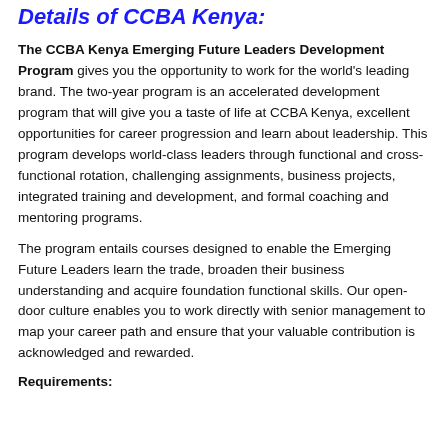Details of CCBA Kenya:
The CCBA Kenya Emerging Future Leaders Development Program gives you the opportunity to work for the world's leading brand. The two-year program is an accelerated development program that will give you a taste of life at CCBA Kenya, excellent opportunities for career progression and learn about leadership. This program develops world-class leaders through functional and cross-functional rotation, challenging assignments, business projects, integrated training and development, and formal coaching and mentoring programs.
The program entails courses designed to enable the Emerging Future Leaders learn the trade, broaden their business understanding and acquire foundation functional skills. Our open-door culture enables you to work directly with senior management to map your career path and ensure that your valuable contribution is acknowledged and rewarded.
Requirements: